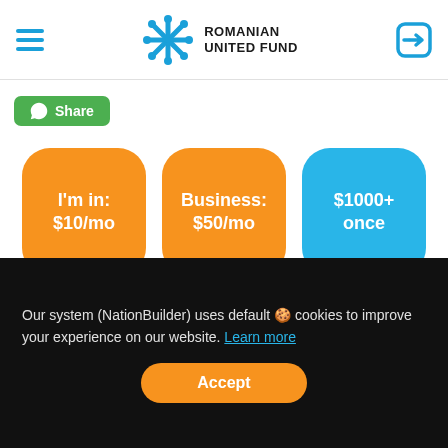Romanian United Fund
[Figure (logo): Romanian United Fund logo with snowflake-style icon in blue, text ROMANIAN UNITED FUND in dark]
Share
I'm in: $10/mo
Business: $50/mo
$1000+ once
Learn More. Visit the Ambassadors' Honor Wall.
Our system (NationBuilder) uses default 🍪 cookies to improve your experience on our website. Learn more
Accept